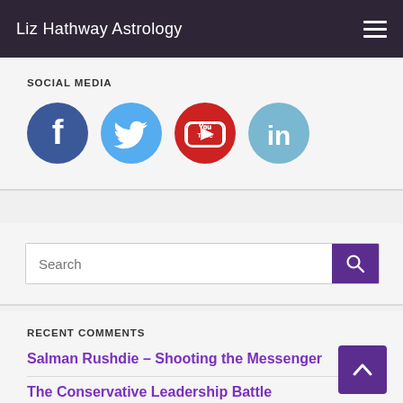Liz Hathway Astrology
SOCIAL MEDIA
[Figure (other): Four social media icons: Facebook (blue circle with f), Twitter (light blue circle with bird), YouTube (red circle with play button), LinkedIn (light blue circle with in)]
Search
RECENT COMMENTS
Salman Rushdie – Shooting the Messenger
The Conservative Leadership Battle
Reflections on Neptune's Station...